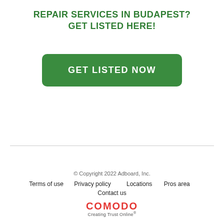REPAIR SERVICES IN BUDAPEST?
GET LISTED HERE!
[Figure (other): Green rounded button with white uppercase text reading GET LISTED NOW]
© Copyright 2022 Adboard, Inc.
Terms of use   Privacy policy   Locations   Pros area
Contact us
COMODO Creating Trust Online®